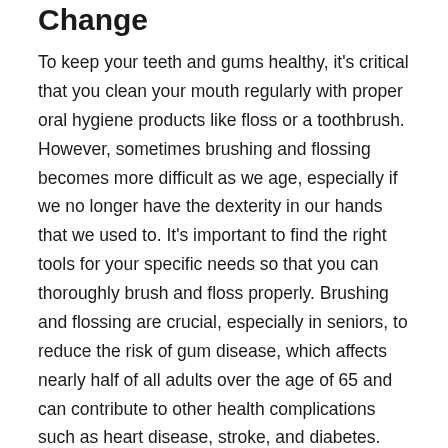Change
To keep your teeth and gums healthy, it's critical that you clean your mouth regularly with proper oral hygiene products like floss or a toothbrush. However, sometimes brushing and flossing becomes more difficult as we age, especially if we no longer have the dexterity in our hands that we used to. It's important to find the right tools for your specific needs so that you can thoroughly brush and floss properly. Brushing and flossing are crucial, especially in seniors, to reduce the risk of gum disease, which affects nearly half of all adults over the age of 65 and can contribute to other health complications such as heart disease, stroke, and diabetes.
Dry Mouth is a Real Concern
Dry mouth is a common side effect of certain medications that affects many adults, and can...